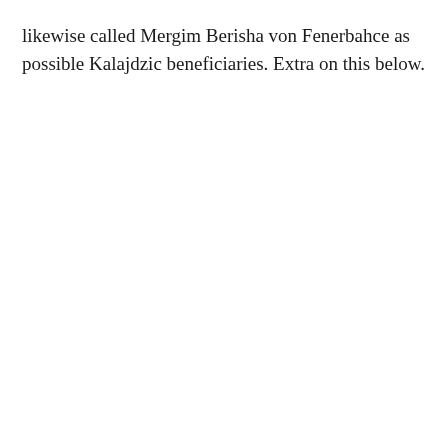likewise called Mergim Berisha von Fenerbahce as possible Kalajdzic beneficiaries. Extra on this below.